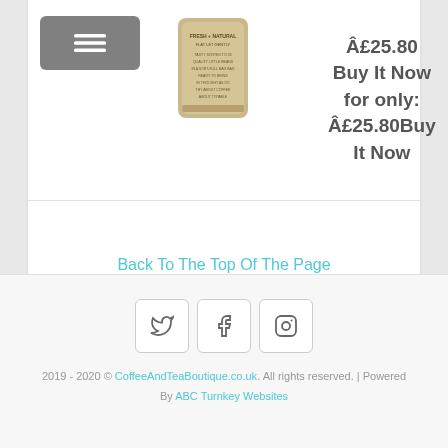[Figure (photo): Product bag of coffee beans]
Â£25.80 Buy It Now for only: Â£25.80Buy It Now
Back To The Top Of The Page
[Figure (other): Social media icons: Twitter, Facebook, Instagram]
2019 - 2020 © CoffeeAndTeaBoutique.co.uk. All rights reserved. | Powered By ABC Turnkey Websites